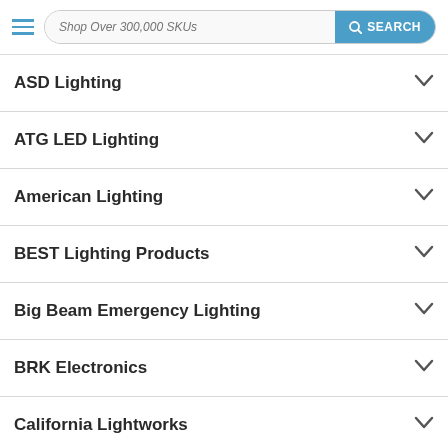Shop Over 300,000 SKUs  SEARCH
ASD Lighting
ATG LED Lighting
American Lighting
BEST Lighting Products
Big Beam Emergency Lighting
BRK Electronics
California Lightworks
Carlon